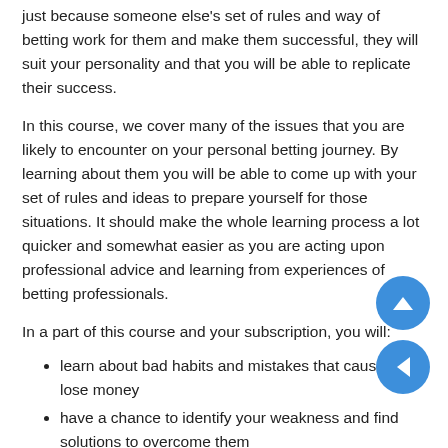just because someone else's set of rules and way of betting work for them and make them successful, they will suit your personality and that you will be able to replicate their success.
In this course, we cover many of the issues that you are likely to encounter on your personal betting journey. By learning about them you will be able to come up with your set of rules and ideas to prepare yourself for those situations. It should make the whole learning process a lot quicker and somewhat easier as you are acting upon professional advice and learning from experiences of betting professionals.
In a part of this course and your subscription, you will:
learn about bad habits and mistakes that cause you lose money
have a chance to identify your weakness and find solutions to overcome them